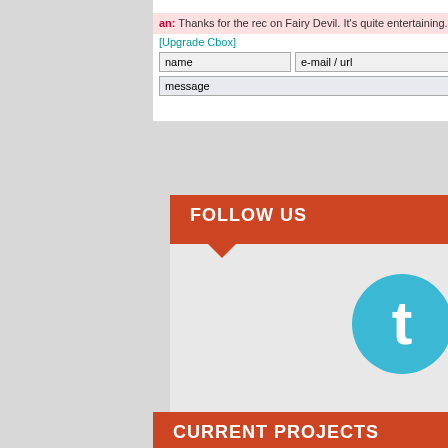23 Aug 22, 10:06 AM
an: Thanks for the rec on Fairy Devil. It's quite entertaining. Intriguing graphics/visuals too.
[Upgrade Cbox]  refresh
[Figure (screenshot): Chat input fields: name, e-mail/url, message with Go button, and links for help, smilies, cbox]
[Figure (screenshot): Hamburger menu icon (three white lines on black background)]
FOLLOW US
[Figure (infographic): Three social media icons: Twitter (blue circle with t logo), a purple RSS/feed icon, and Spotify (green circle with wavy lines logo)]
CURRENT PROJECTS